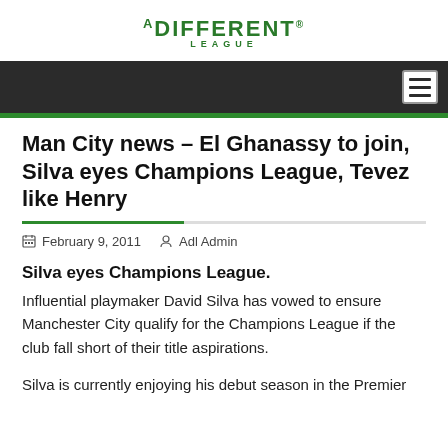A DIFFERENT LEAGUE
Man City news – El Ghanassy to join, Silva eyes Champions League, Tevez like Henry
February 9, 2011   Adl Admin
Silva eyes Champions League.
Influential playmaker David Silva has vowed to ensure Manchester City qualify for the Champions League if the club fall short of their title aspirations.
Silva is currently enjoying his debut season in the Premier